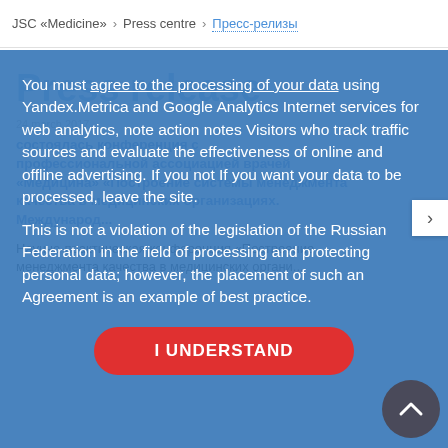JSC «Medicine» > Press centre > Пресс-релизы
[Figure (screenshot): Cookie/data consent modal overlay on a blue background. Text reads: 'You must agree to the processing of your data using Yandex.Metrica and Google Analytics Internet services for web analytics, note action notes Visitors who track traffic sources and evaluate the effectiveness of online and offline advertising. If you not If you want your data to be processed, leave the site.
This is not a violation of the legislation of the Russian Federation in the field of processing and protecting personal data; however, the placement of such an Agreement is an example of best practice.' A red rounded button labeled 'I UNDERSTAND' appears at the bottom of the overlay. Behind the overlay is a press release page in Russian about a medical management quality conference.]
You must agree to the processing of your data using Yandex.Metrica and Google Analytics Internet services for web analytics, note action notes Visitors who track traffic sources and evaluate the effectiveness of online and offline advertising. If you not If you want your data to be processed, leave the site.
This is not a violation of the legislation of the Russian Federation in the field of processing and protecting personal data; however, the placement of such an Agreement is an example of best practice.